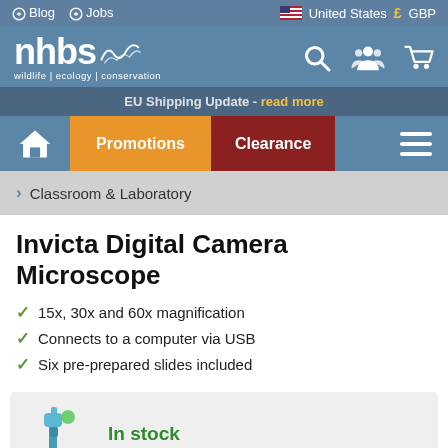Blog  Jobs  |  United States  £  GBP
[Figure (logo): NHBS wildlife | ecology | conservation logo with search, user, and cart icons]
EU Shipping Update - read more
Home  Promotions  Clearance  Menu
> Classroom & Laboratory
Invicta Digital Camera Microscope
15x, 30x and 60x magnification
Connects to a computer via USB
Six pre-prepared slides included
[Figure (photo): Product image of Invicta Digital Camera Microscope with In stock label]
This product...